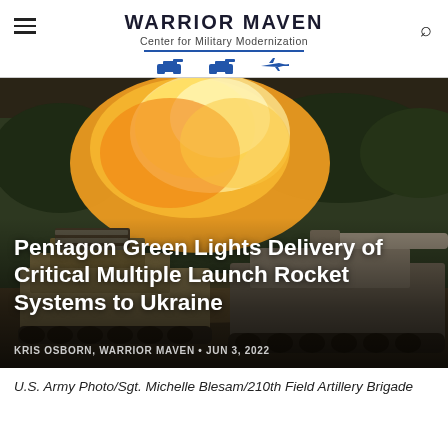WARRIOR MAVEN
Center for Military Modernization
[Figure (photo): Military artillery vehicles (MLRS and howitzer) firing with large blast and flame, in a field with trees in the background. Two tracked vehicles are visible side by side.]
Pentagon Green Lights Delivery of Critical Multiple Launch Rocket Systems to Ukraine
KRIS OSBORN, WARRIOR MAVEN • JUN 3, 2022
U.S. Army Photo/Sgt. Michelle Blesam/210th Field Artillery Brigade